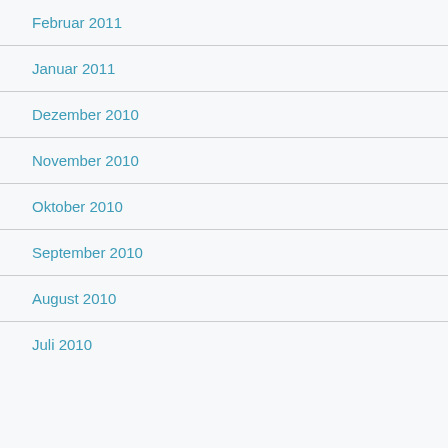Februar 2011
Januar 2011
Dezember 2010
November 2010
Oktober 2010
September 2010
August 2010
Juli 2010